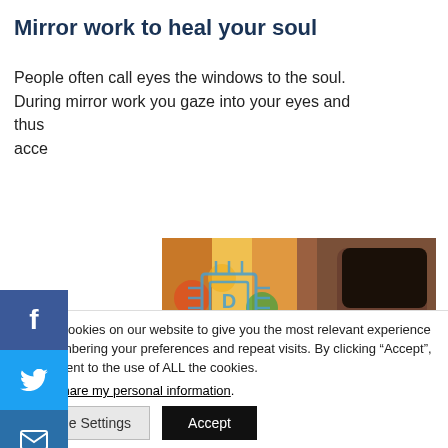Mirror work to heal your soul
People often call eyes the windows to the soul. During mirror work you gaze into your eyes and thus
acce
[Figure (photo): Photo of a person wearing a face mask in a crowded setting, with a chip/circuit board logo watermark overlay on the left side of the image.]
We use cookies on our website to give you the most relevant experience by remembering your preferences and repeat visits. By clicking “Accept”, you consent to the use of ALL the cookies.
Do not share my personal information.